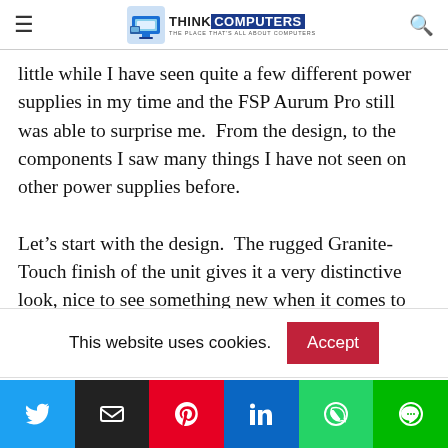ThinkComputers - The Place That's All About Computers
little while I have seen quite a few different power supplies in my time and the FSP Aurum Pro still was able to surprise me.  From the design, to the components I saw many things I have not seen on other power supplies before.

Let’s start with the design.  The rugged Granite-Touch finish of the unit gives it a very distinctive look, nice to see something new when it comes to the actual unit itself.  One thing I really liked about this power supply
This website uses cookies.
[Figure (infographic): Social share buttons: Twitter, Email, Pinterest, LinkedIn, WhatsApp, Line]